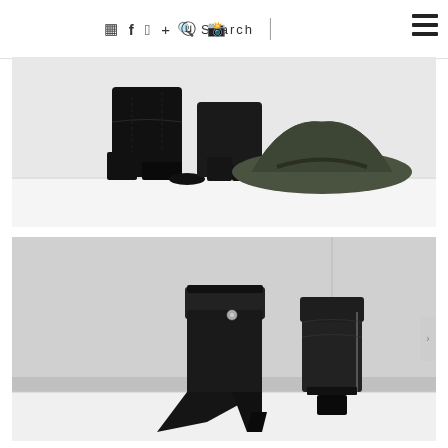Search | (instagram) (facebook) (twitter) + (pinterest) (google+) ☰
With Or Without Shoes
[Figure (photo): Close-up of two black leather block-heel ankle boots next to an olive/dark green felt fedora hat on a white surface]
[Figure (photo): Two black leather ankle boots with fold-over cuff detail and silver stud, one standing upright and one tipped on its side showing the geometric heel, on a white shelf against grey background]